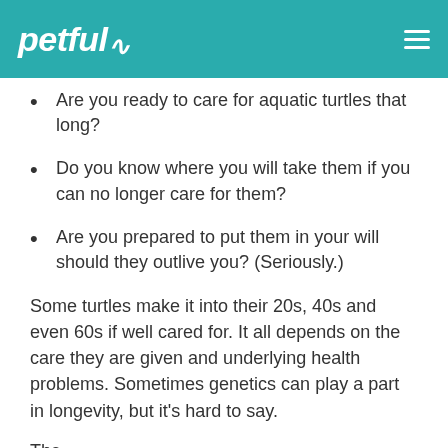petful
Are you ready to care for aquatic turtles that long?
Do you know where you will take them if you can no longer care for them?
Are you prepared to put them in your will should they outlive you? (Seriously.)
Some turtles make it into their 20s, 40s and even 60s if well cared for. It all depends on the care they are given and underlying health problems. Sometimes genetics can play a part in longevity, but it’s hard to say.
The…